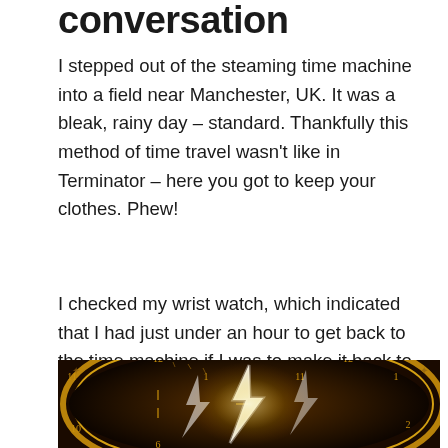conversation
I stepped out of the steaming time machine into a field near Manchester, UK. It was a bleak, rainy day – standard. Thankfully this method of time travel wasn't like in Terminator – here you got to keep your clothes. Phew!
I checked my wrist watch, which indicated that I had just under an hour to get back to the time machine if I was to make it back to 2017.
[Figure (photo): A dramatic close-up of ornate golden clock faces with lightning bolts striking across them, set against a dark background with glowing golden light effects.]